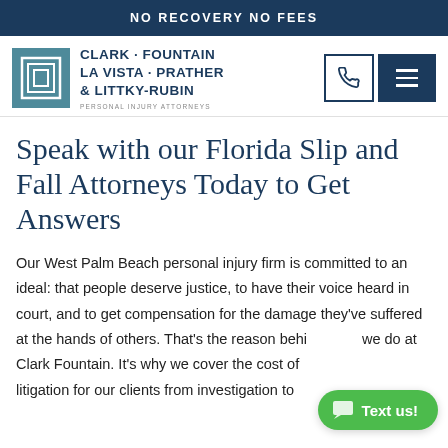NO RECOVERY NO FEES
[Figure (logo): Clark Fountain La Vista Prather & Littky-Rubin law firm logo with teal square icon and firm name. PERSONAL INJURY ATTORNEYS tagline below.]
Speak with our Florida Slip and Fall Attorneys Today to Get Answers
Our West Palm Beach personal injury firm is committed to an ideal: that people deserve justice, to have their voice heard in court, and to get compensation for the damage they've suffered at the hands of others. That's the reason behind what we do at Clark Fountain. It's why we cover the cost of litigation for our clients from investigation to